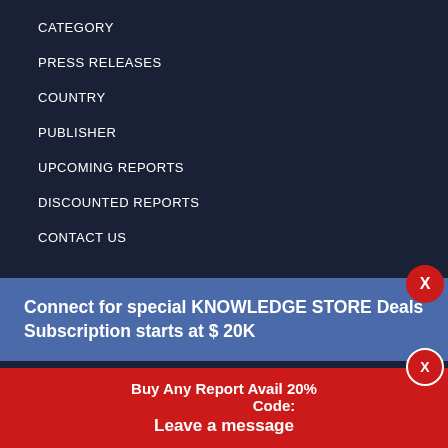CATEGORY
PRESS RELEASES
COUNTRY
PUBLISHER
UPCOMING REPORTS
DISCOUNTED REPORTS
CONTACT US
Connect for special KNOWLEDGE STORE Deals Subscription starts at $ 20K
Services), Application (Sentiment Analysis, Social Media Monitoring), Technology (IVR, OCR, Auto Coding), Vertical (BFSI, Retail & eCommerce, IT & ITES) & Region - Global Forecast to 2027
August 2022 - US $ 4950
Automotive V2X Market by Connectivity (DSRC, and Cellular), Communication (V2V, V2I, V2P, V2G, V2C, and V2... Commercial Veh... and Region - Gl...
Buy Any Report Avail 20%
Leave a message
Code: